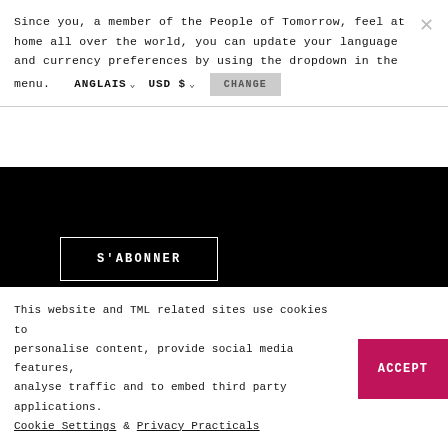Since you, a member of the People of Tomorrow, feel at home all over the world, you can update your language and currency preferences by using the dropdown in the menu. ANGLAIS USD $ CHANGE
S'ABONNER
[Figure (illustration): Facebook and Instagram social media icons in black on white background]
This website and TML related sites use cookies to personalise content, provide social media features, analyse traffic and to embed third party applications. Cookie Settings & Privacy Practicals